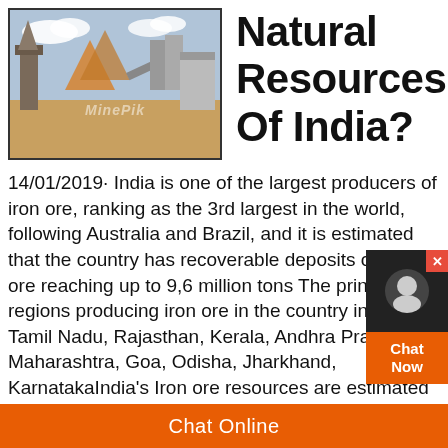[Figure (photo): Photo of a mining/crushing facility with machinery, sandy ground, and sky with clouds. Watermark text 'MinePik' visible.]
Natural Resources Of India?
14/01/2019· India is one of the largest producers of iron ore, ranking as the 3rd largest in the world, following Australia and Brazil, and it is estimated that the country has recoverable deposits of iron ore reaching up to 9,6 million tons The principal regions producing iron ore in the country include Tamil Nadu, Rajasthan, Kerala, Andhra Pradesh, Maharashtra, Goa, Odisha, Jharkhand, KarnatakaIndia's Iron ore resources are estimated at 285 billion tonnes, distributed between Haematite at 179 and Magnetite at 106 billion tonnes Though, both numbers are impressive at first glance; here's a staggering fact: while 45% of the haematite resources are classified as reserves,
Chat Online